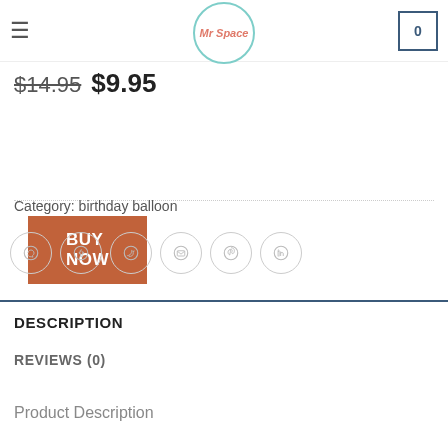Mr Space - navigation header with cart showing 0
$14.95  $9.95
BUY NOW
Category: birthday balloon
[Figure (other): Social share icons row: WhatsApp, Facebook, Twitter, Email, Pinterest, LinkedIn]
DESCRIPTION
REVIEWS (0)
Product Description